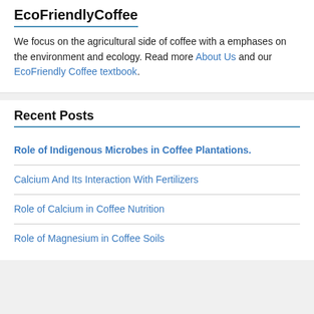EcoFriendlyCoffee
We focus on the agricultural side of coffee with a emphases on the environment and ecology. Read more About Us and our EcoFriendly Coffee textbook.
Recent Posts
Role of Indigenous Microbes in Coffee Plantations.
Calcium And Its Interaction With Fertilizers
Role of Calcium in Coffee Nutrition
Role of Magnesium in Coffee Soils